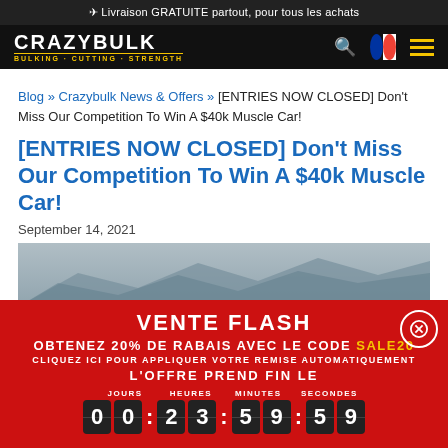✈ Livraison GRATUITE partout, pour tous les achats
[Figure (logo): CrazyBulk logo — BULKING · CUTTING · STRENGTH in white and yellow on black nav bar]
Blog » Crazybulk News & Offers » [ENTRIES NOW CLOSED] Don't Miss Our Competition To Win A $40k Muscle Car!
[ENTRIES NOW CLOSED] Don't Miss Our Competition To Win A $40k Muscle Car!
September 14, 2021
[Figure (photo): Partial outdoor/landscape photo with mountains in background]
VENTE FLASH
OBTENEZ 20% DE RABAIS AVEC LE CODE SALE20
CLIQUEZ ICI POUR APPLIQUER VOTRE REMISE AUTOMATIQUEMENT
L'OFFRE PREND FIN LE
JOURS 00 : HEURES 23 : MINUTES 59 : SECONDES 59